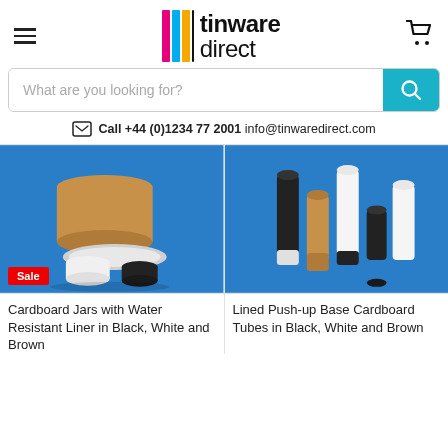[Figure (logo): Tinware Direct logo with colored vertical bars (magenta, cyan, yellow) and text 'tinware direct']
What are you looking for?
Call +44 (0)1234 77 2001 info@tinwaredirect.com
[Figure (photo): Cardboard jars with water resistant liner in black, white and brown on blue background, with Sale badge]
Cardboard Jars with Water Resistant Liner in Black, White and Brown
[Figure (photo): Lined Push-up Base Cardboard Tubes in black, white and brown on blue background]
Lined Push-up Base Cardboard Tubes in Black, White and Brown